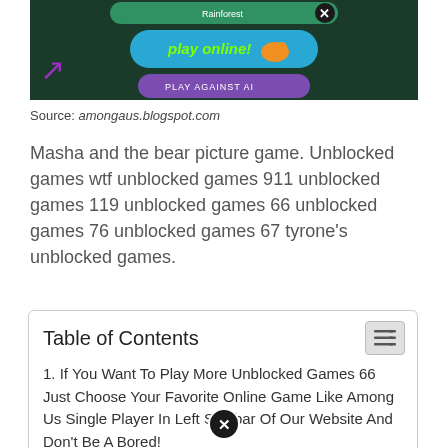[Figure (screenshot): Screenshot of a snake game website showing 'play online!' and 'PLAY AGAINST AI' buttons on a dark background]
Source: amongaus.blogspot.com
Masha and the bear picture game. Unblocked games wtf unblocked games 911 unblocked games 119 unblocked games 66 unblocked games 76 unblocked games 67 tyrone's unblocked games.
| Table of Contents |
| --- |
| 1. If You Want To Play More Unblocked Games 66 Just Choose Your Favorite Online Game Like Among Us Single Player In Left Sidebar Of Our Website And Don't Be A Bored! |
| 2. Masha And The Bear Math Game. |
| 3. This Game Can Never Be Blocked! |
| 4. Request / Contact Problem |